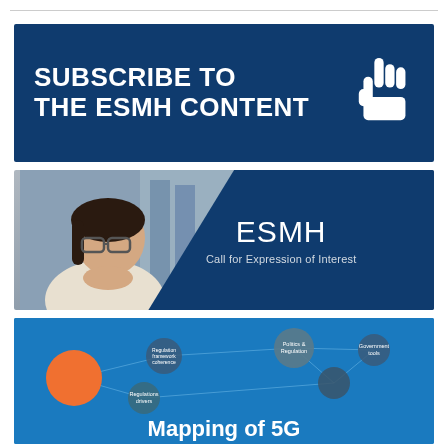[Figure (infographic): Dark navy blue banner with bold white text 'SUBSCRIBE TO THE ESMH CONTENT' and a white cursor/hand pointer icon on the right]
[Figure (infographic): Banner showing a woman with glasses looking thoughtfully at a screen, with a dark navy curved overlay on the right showing 'ESMH' and 'Call for Expression of Interest']
[Figure (infographic): Blue banner with network diagram nodes including 'Politics & Regulation' and other labeled circles, with partial text 'Mapping of 5G' visible at the bottom]